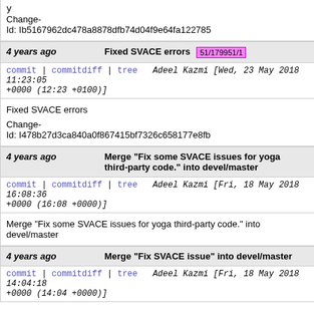Change-Id: Ib5167962dc478a8878dfb74d04f9e64fa122785
4 years ago   Fixed SVACE errors  51/179951/1
commit | commitdiff | tree   Adeel Kazmi [Wed, 23 May 2018 11:23:05 +0000 (12:23 +0100)]
Fixed SVACE errors

Change-Id: I478b27d3ca840a0f867415bf7326c658177e8fb
4 years ago   Merge "Fix some SVACE issues for yoga third-party code." into devel/master
commit | commitdiff | tree   Adeel Kazmi [Fri, 18 May 2018 16:08:36 +0000 (16:08 +0000)]
Merge "Fix some SVACE issues for yoga third-party code." into devel/master
4 years ago   Merge "Fix SVACE issue" into devel/master
commit | commitdiff | tree   Adeel Kazmi [Fri, 18 May 2018 14:04:18 +0000 (14:04 +0000)]